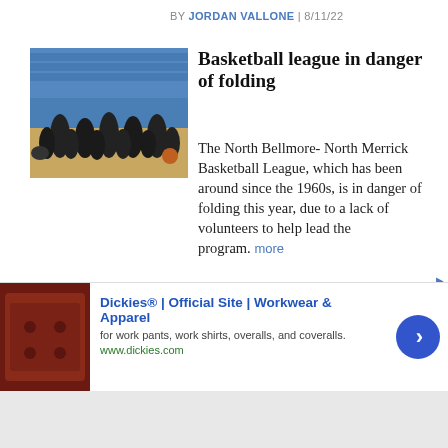BY JORDAN VALLONE | 8/11/22
[Figure (photo): Youth basketball team photo on a gym court, kids in dark jerseys with a dog, blue bleachers in background]
Basketball league in danger of folding
The North Bellmore- North Merrick Basketball League, which has been around since the 1960s, is in danger of folding this year, due to a lack of volunteers to help lead the program. more
BY JORDAN VALLONE | 8/11/22
[Figure (photo): Partial image of what appears to be a bourbon-related venue or event]
Many laughs had at Bourbon &
[Figure (photo): Advertisement image showing red/brown leather seating]
Dickies® | Official Site | Workwear & Apparel
for work pants, work shirts, overalls, and coveralls.
www.dickies.com